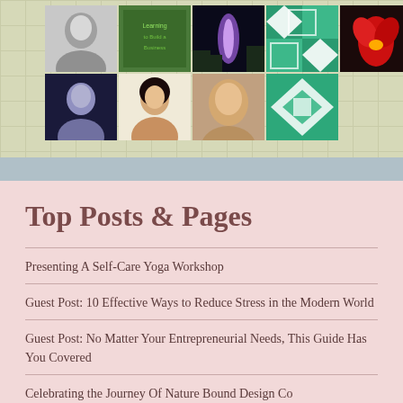[Figure (photo): A collage/grid of photos including people's portraits, a green quilt pattern, a flower, a forest light scene, and a book cover, arranged on a light yellow-green grid background.]
Top Posts & Pages
Presenting A Self-Care Yoga Workshop
Guest Post: 10 Effective Ways to Reduce Stress in the Modern World
Guest Post: No Matter Your Entrepreneurial Needs, This Guide Has You Covered
Celebrating the Journey Of Nature Bound Design Co